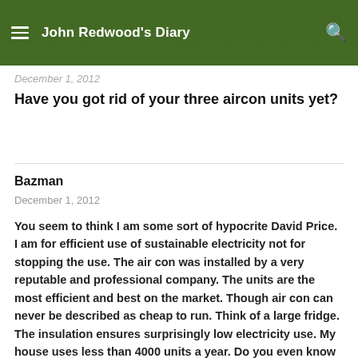John Redwood's Diary
December 1, 2012
Have you got rid of your three aircon units yet?
Bazman
December 1, 2012
You seem to think I am some sort of hypocrite David Price. I am for efficient use of sustainable electricity not for stopping the use. The air con was installed by a very reputable and professional company. The units are the most efficient and best on the market. Though air con can never be described as cheap to run. Think of a large fridge. The insulation ensures surprisingly low electricity use. My house uses less than 4000 units a year. Do you even know your electricity consumption